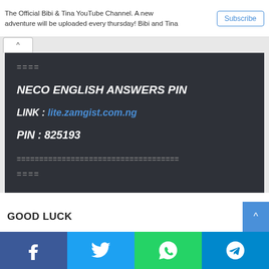The Official Bibi & Tina YouTube Channel. A new adventure will be uploaded every thursday! Bibi and Tina
Subscribe
====
NECO ENGLISH ANSWERS PIN
LINK : lite.zamgist.com.ng
PIN : 825193
====================================
====
GOOD LUCK